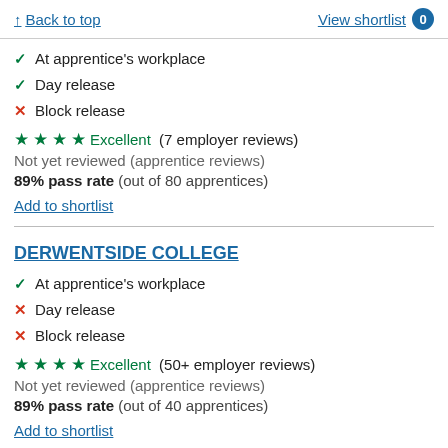↑ Back to top    View shortlist 0
✓ At apprentice's workplace
✓ Day release
✗ Block release
★★★★ Excellent (7 employer reviews)
Not yet reviewed (apprentice reviews)
89% pass rate (out of 80 apprentices)
Add to shortlist
DERWENTSIDE COLLEGE
✓ At apprentice's workplace
✗ Day release
✗ Block release
★★★★ Excellent (50+ employer reviews)
Not yet reviewed (apprentice reviews)
89% pass rate (out of 40 apprentices)
Add to shortlist